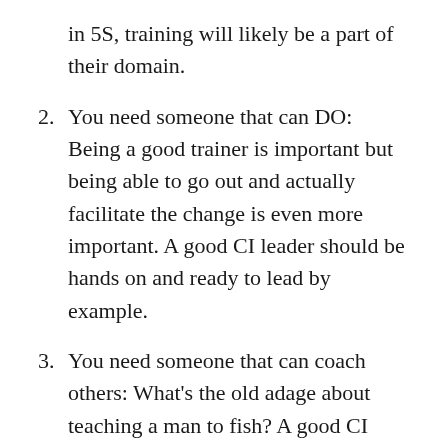in 5S, training will likely be a part of their domain.
2. You need someone that can DO: Being a good trainer is important but being able to go out and actually facilitate the change is even more important. A good CI leader should be hands on and ready to lead by example.
3. You need someone that can coach others: What’s the old adage about teaching a man to fish? A good CI leader needs to be able to develop others and drive accountability through coaching. If the CI person has all